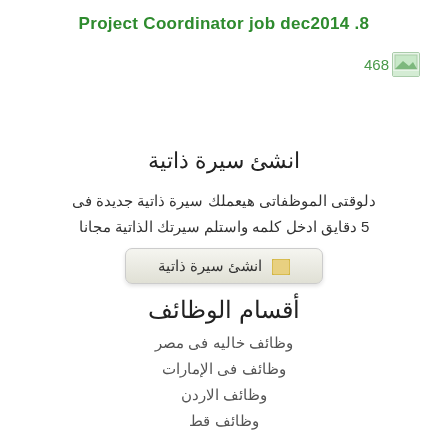8. Project Coordinator job dec2014
[Figure (illustration): Small image thumbnail icon with number 468]
انشئ سيرة ذاتية
دلوقتى الموظفاتى هيعملك سيرة ذاتية جديدة فى 5 دقايق ادخل كلمه واستلم سيرتك الذاتية مجانا
انشئ سيرة ذاتية
أقسام الوظائف
وظائف خاليه فى مصر
وظائف فى الإمارات
وظائف الاردن
وظائف قط